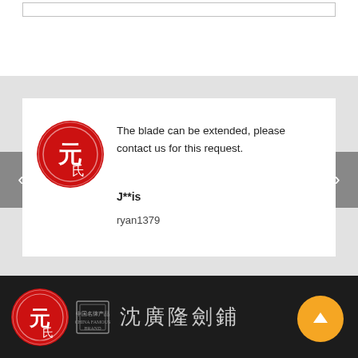[Figure (screenshot): Top white area with a thin bordered input/search box near top]
[Figure (screenshot): Review card on gray background. Contains a red circular logo avatar on the left, review text 'The blade can be extended, please contact us for this request.' with reviewer name 'J**is' and ID 'ryan1379'. Navigation arrows on left and right sides.]
The blade can be extended, please contact us for this request.
J**is
ryan1379
[Figure (logo): Footer with dark background containing red circular logo, secondary logo, Chinese calligraphy text '沈廣隆劍鋪', and an orange scroll-to-top button]